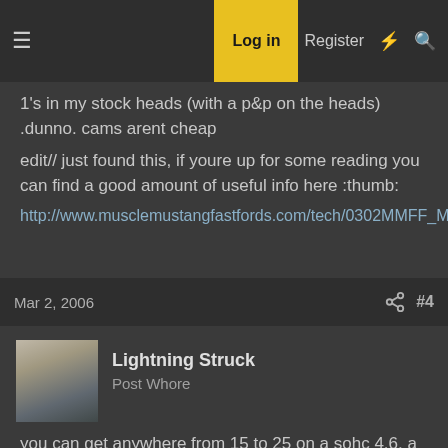Log in | Register
1's in my stock heads (with a p&p on the heads) .dunno. cams arent cheap
edit// just found this, if youre up for some reading you can find a good amount of useful info here :thumb:
http://www.musclemustangfastfords.com/tech/0302MMFF_MixMatch/
Mar 2, 2006   #4
Lightning Struck
Post Whore
you can get anywhere from 15 to 25 on a sohc 4.6, a lot of the guys over on StangNet has cams and can give you lots of info on them